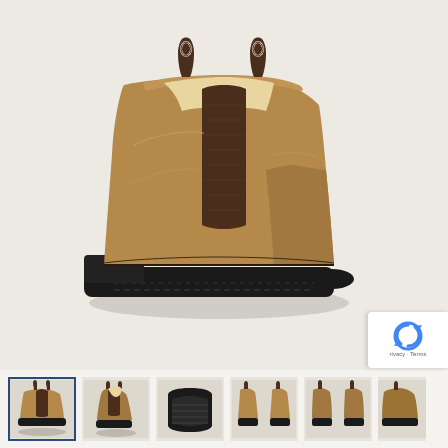[Figure (photo): Main product photo of a brown Chelsea boot (Blundstone style) with elastic side panels, pull tabs, and black rubber sole, shown in profile view against a light beige background.]
[Figure (photo): Thumbnail strip showing 6 small product images of the same brown Chelsea boot from different angles: side view (selected with blue border), angled front-side view, sole/bottom view, front pair view, back pair view, and a partially obscured angled view with reCAPTCHA overlay.]